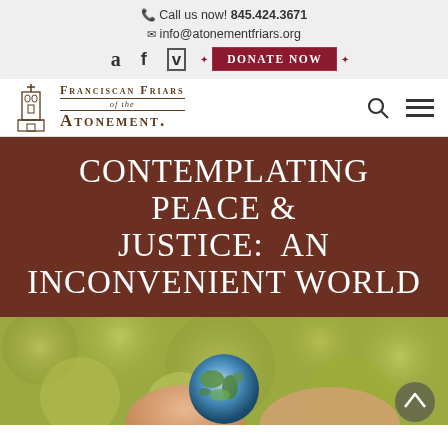Call us now! 845.424.3671
info@atonementfriars.org
Amazon | Facebook | Vimeo | DONATE NOW
[Figure (logo): Franciscan Friars of the Atonement logo with church tower icon]
CONTEMPLATING PEACE & JUSTICE: AN INCONVENIENT WORLD
[Figure (photo): Hands holding a small globe/Earth ball with blurred green bokeh background]